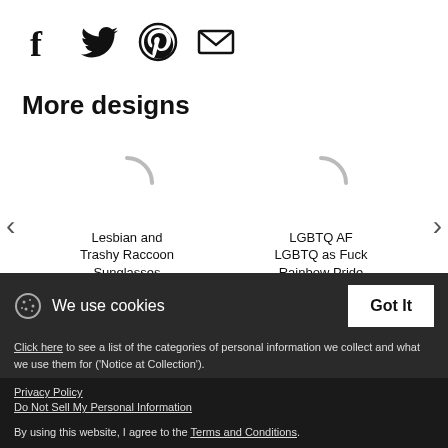[Figure (infographic): Social sharing icons: Facebook (f), Twitter (bird), Pinterest (P), Email (envelope)]
More designs
[Figure (other): Loading spinner placeholder for carousel item: Lesbian and Trashy Raccoon Sunglasses Lesbian]
[Figure (other): Loading spinner placeholder for carousel item: LGBTQ AF LGBTQ as Fuck Rainbow Pride Flag]
Lesbian and Trashy Raccoon Sunglasses Lesbian
LGBTQ AF LGBTQ as Fuck Rainbow Pride Flag
We use cookies
Click here to see a list of the categories of personal information we collect and what we use them for ('Notice at Collection').
Privacy Policy
Do Not Sell My Personal Information
By using this website, I agree to the Terms and Conditions.